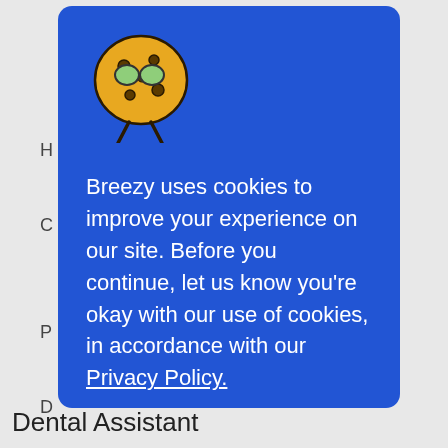[Figure (illustration): Cookie character mascot: a round yellow cookie with dark spots, wearing round green glasses, with stick legs, cartoon style]
Breezy uses cookies to improve your experience on our site. Before you continue, let us know you're okay with our use of cookies, in accordance with our Privacy Policy.
Awesome 🍪
Dental Assistant